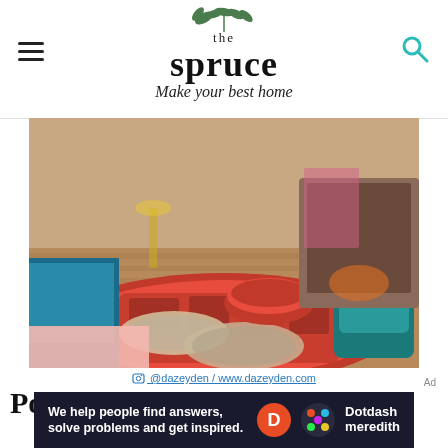the spruce — Make your best home
[Figure (photo): Interior living room photo with red patterned rug, round glass coffee tables, colorful pouf ottoman, teal chair and armchair, with fireplace in background. Bohemian / eclectic decor style.]
@dazeyden / www.dazeyden.com
Popular Tile Colors This Year
Is white tile making you yawn? The jewel-toned colors rolling out in 2022 are the answer to
[Figure (other): Dotdash Meredith advertisement banner: 'We help people find answers, solve problems and get inspired.']